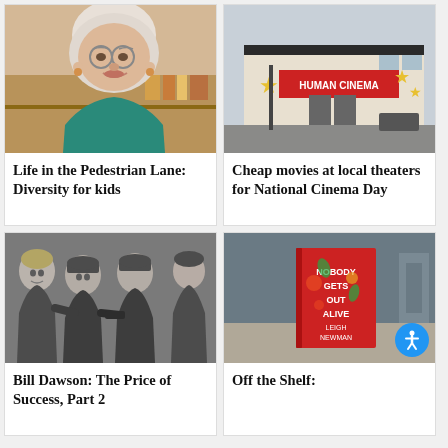[Figure (photo): Elderly woman with white hair and glasses, wearing a teal top, smiling. Background shows shelves with objects.]
Life in the Pedestrian Lane: Diversity for kids
[Figure (photo): Exterior of a local cinema building with yellow star decorations and a red sign reading 'HUMAN CINEMA'. Overcast sky.]
Cheap movies at local theaters for National Cinema Day
[Figure (photo): Black and white historical photo of four women in military uniforms, standing together and looking at something.]
Bill Dawson: The Price of Success, Part 2
[Figure (photo): Book cover of 'Nobody Gets Out Alive' by Leigh Newman, red cover with colorful leaf/floral design. Book placed on a surface.]
Off the Shelf: